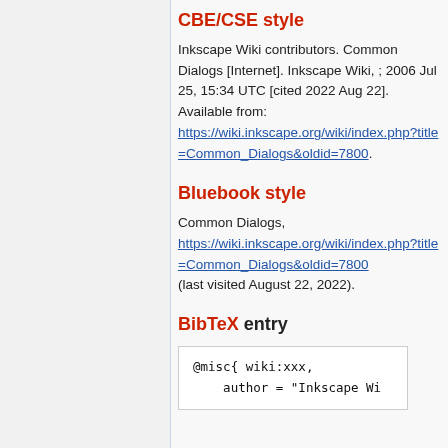CBE/CSE style
Inkscape Wiki contributors. Common Dialogs [Internet]. Inkscape Wiki, ; 2006 Jul 25, 15:34 UTC [cited 2022 Aug 22]. Available from: https://wiki.inkscape.org/wiki/index.php?title=Common_Dialogs&oldid=7800.
Bluebook style
Common Dialogs, https://wiki.inkscape.org/wiki/index.php?title=Common_Dialogs&oldid=7800 (last visited August 22, 2022).
BibTeX entry
@misc{ wiki:xxx,
    author = "Inkscape Wi